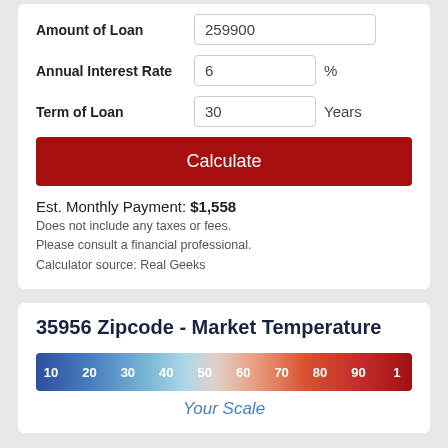Amount of Loan
259900
Annual Interest Rate
6  %
Term of Loan
30  Years
Calculate
Est. Monthly Payment: $1,558
Does not include any taxes or fees.
Please consult a financial professional.
Calculator source: Real Geeks
35956 Zipcode - Market Temperature
[Figure (infographic): Horizontal gradient bar from blue (cold/buyers market) on the left to red (hot/sellers market) on the right, labeled with numbers 10 through 100 at intervals of 10.]